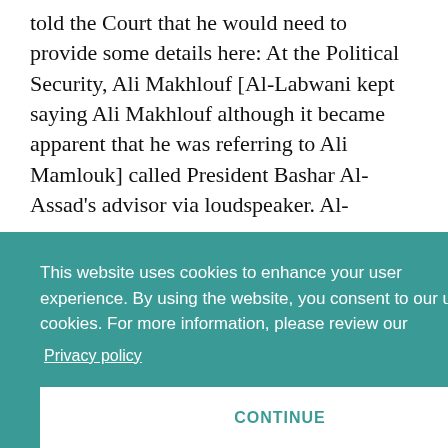told the Court that he would need to provide some details here: At the Political Security, Ali Makhlouf [Al-Labwani kept saying Ali Makhlouf although it became apparent that he was referring to Ali Mamlouk] called President Bashar Al-Assad's advisor via loudspeaker. Al-
This website uses cookies to enhance your user experience. By using the website, you consent to our use of cookies. For more information, please review our
Privacy policy
CONTINUE
blindfolded and with his hands tied in front of